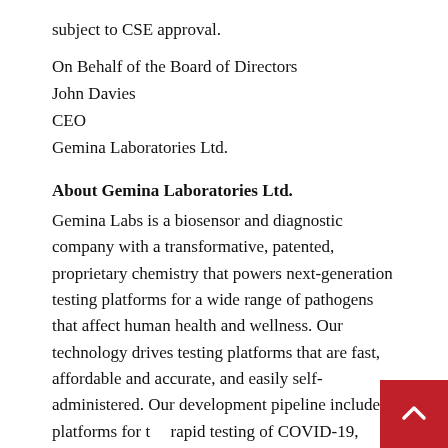subject to CSE approval.
On Behalf of the Board of Directors
John Davies
CEO
Gemina Laboratories Ltd.
About Gemina Laboratories Ltd.
Gemina Labs is a biosensor and diagnostic company with a transformative, patented, proprietary chemistry that powers next-generation testing platforms for a wide range of pathogens that affect human health and wellness. Our technology drives testing platforms that are fast, affordable and accurate, and easily self-administered. Our development pipeline includes platforms for the rapid testing of COVID-19, influenza and other viruses. Additional information on the Company